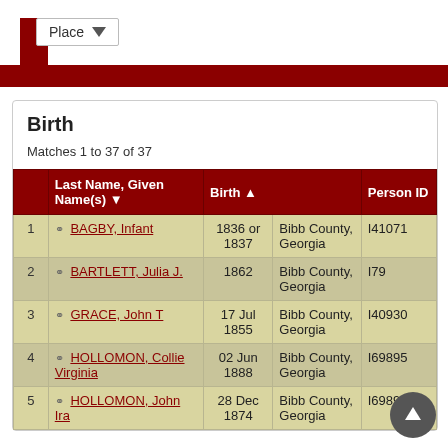Place
Birth
Matches 1 to 37 of 37
|  | Last Name, Given Name(s) | Birth |  | Person ID |
| --- | --- | --- | --- | --- |
| 1 | BAGBY, Infant | 1836 or 1837 | Bibb County, Georgia | I41071 |
| 2 | BARTLETT, Julia J. | 1862 | Bibb County, Georgia | I79 |
| 3 | GRACE, John T | 17 Jul 1855 | Bibb County, Georgia | I40930 |
| 4 | HOLLOMON, Collie Virginia | 02 Jun 1888 | Bibb County, Georgia | I69895 |
| 5 | HOLLOMON, John Ira | 28 Dec 1874 | Bibb County, Georgia | I69890 |